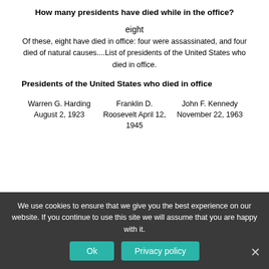How many presidents have died while in the office?
eight
Of these, eight have died in office: four were assassinated, and four died of natural causes....List of presidents of the United States who died in office.
Presidents of the United States who died in office
| Warren G. Harding August 2, 1923 | Franklin D. Roosevelt April 12, 1945 | John F. Kennedy November 22, 1963 |
What president died in a tub?
James Buchanan, ...United States (1857–1861), served immediately prior to the American Civil War. He...
James S. Buchanan
We use cookies to ensure that we give you the best experience on our website. If you continue to use this site we will assume that you are happy with it.